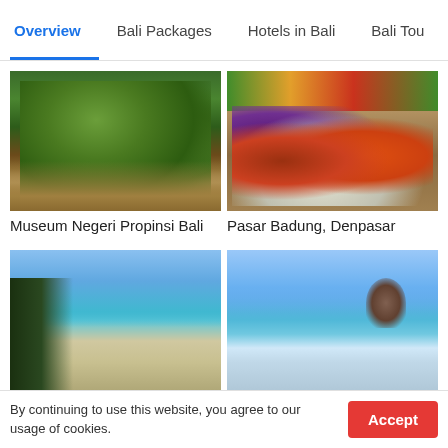Overview | Bali Packages | Hotels in Bali | Bali Tou
[Figure (photo): Lush green garden with trees and traditional Balinese architecture]
[Figure (photo): Colorful spices and produce displayed in baskets at Pasar Badung market, Denpasar]
Museum Negeri Propinsi Bali
Pasar Badung, Denpasar
[Figure (photo): Beach with white sand, blue water, umbrellas and sunbeds, dark vegetation on the left]
[Figure (photo): Calm blue sea with a distant mountain/volcano on the horizon, small boat visible]
By continuing to use this website, you agree to our usage of cookies.